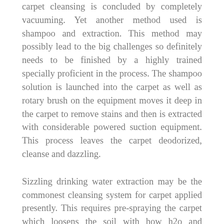carpet cleansing is concluded by completely vacuuming. Yet another method used is shampoo and extraction. This method may possibly lead to the big challenges so definitely needs to be finished by a highly trained specially proficient in the process. The shampoo solution is launched into the carpet as well as rotary brush on the equipment moves it deep in the carpet to remove stains and then is extracted with considerable powered suction equipment. This process leaves the carpet deodorized, cleanse and dazzling.
Sizzling drinking water extraction may be the commonest cleansing system for carpet applied presently. This requires pre-spraying the carpet which loosens the soil with how h2o and determination the extracting it by means of the next driven piece of suction devices. This process consists of releasing ingesting drinking water into the carpet that may also create issues. Make sure that comprehensive drying occurs